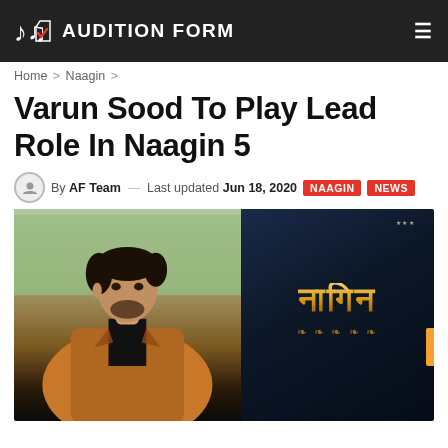AUDITION FORM
Home > Naagin >
Varun Sood To Play Lead Role In Naagin 5
By AF Team — Last updated Jun 18, 2020 NAAGIN NEWS
[Figure (photo): Composite image: left side shows a young man with styled dark hair wearing a brown/tan jacket; right side shows the Hindi-language 'Naagin' TV show logo in gold ornate lettering on a dark blue background with decorative elements below.]